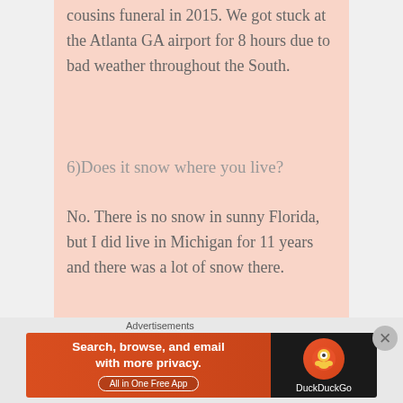cousins funeral in 2015. We got stuck at the Atlanta GA airport for 8 hours due to bad weather throughout the South.
6)Does it snow where you live?
No. There is no snow in sunny Florida, but I did live in Michigan for 11 years and there was a lot of snow there.
7)What makes you want to keep writing?
[Figure (other): WordPress advertisement banner with blue-teal gradient and phone graphic]
Advertisements
[Figure (other): DuckDuckGo advertisement: Search, browse, and email with more privacy. All in One Free App]
Advertisements